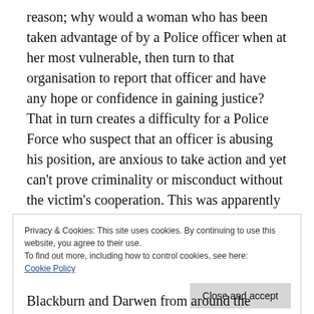reason; why would a woman who has been taken advantage of by a Police officer when at her most vulnerable, then turn to that organisation to report that officer and have any hope or confidence in gaining justice? That in turn creates a difficulty for a Police Force who suspect that an officer is abusing his position, are anxious to take action and yet can't prove criminality or misconduct without the victim's cooperation. This was apparently the case for Lancashire Constabulary in
Privacy & Cookies: This site uses cookies. By continuing to use this website, you agree to their use.
To find out more, including how to control cookies, see here:
Cookie Policy
Close and accept
Blackburn and Darwen from around the